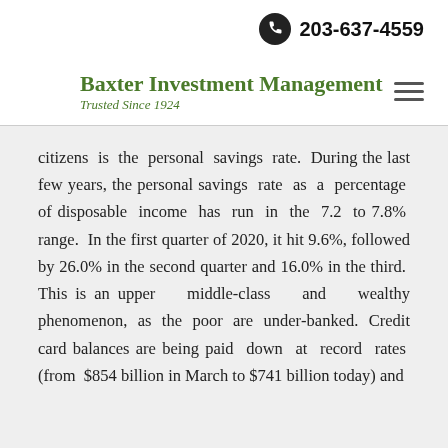203-637-4559
Baxter Investment Management
Trusted Since 1924
citizens is the personal savings rate.  During the last few years, the personal savings rate as a percentage of disposable income has run in the 7.2 to 7.8% range.  In the first quarter of 2020, it hit 9.6%, followed by 26.0% in the second quarter and 16.0% in the third.  This is an upper middle-class and wealthy phenomenon, as the poor are under-banked.  Credit card balances are being paid down at record rates (from $854 billion in March to $741 billion today) and